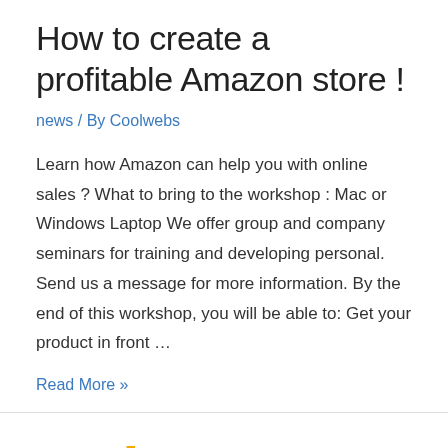How to create a profitable Amazon store !
news / By Coolwebs
Learn how Amazon can help you with online sales ? What to bring to the workshop : Mac or Windows Laptop We offer group and company seminars for training and developing personal. Send us a message for more information. By the end of this workshop, you will be able to: Get your product in front …
Read More »
Make Money on